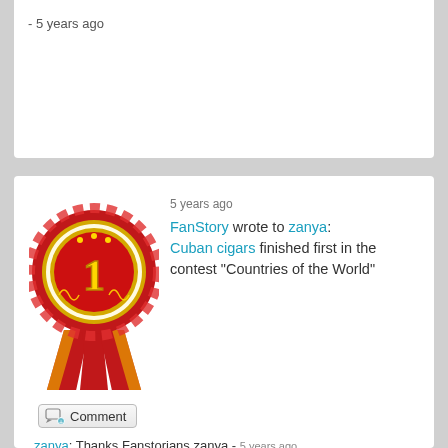- 5 years ago
5 years ago
FanStory wrote to zanya: Cuban cigars finished first in the contest "Countries of the World"
[Figure (illustration): Red and gold first-place ribbon/medal with number 1 and stars]
Comment button
zanya: Thanks Fanstorians zanya - 5 years ago
Dean Kuch:
[Figure (illustration): Cartoon characters illustration at the bottom of the page]